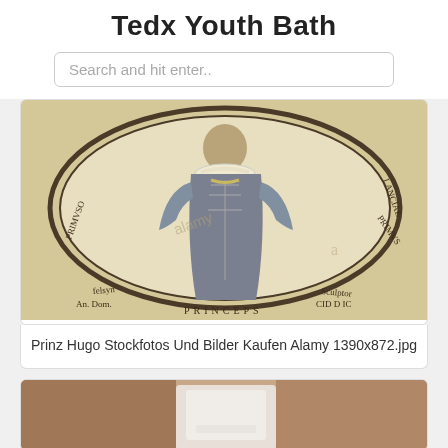Tedx Youth Bath
Search and hit enter..
[Figure (photo): Antique engraved oval portrait of a nobleman in Elizabethan-era clothing with ruff collar and ornate jacket, surrounded by circular text inscription. Text around oval reads: PAR. A... LANCIAE PRIMVS PRINCEPS PRIMVSO... Signatures at bottom: 'felsyn An. Dom.' on left and 'Sculptor CID D IC' on right. Alamy watermark visible.]
Prinz Hugo Stockfotos Und Bilder Kaufen Alamy 1390x872.jpg
[Figure (photo): Partial view of a second image showing what appears to be a bathroom or toilet scene with brown/beige tones.]